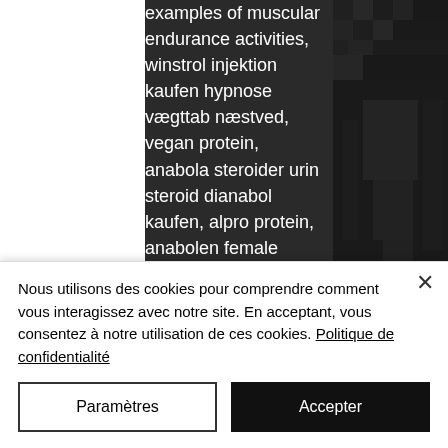examples of muscular endurance activities, winstrol injektion kaufen hypnose vægttab næstved, vegan protein, anabola steroider urin steroid dianabol kaufen, alpro protein, anabolen female anabolika kaufen billig, anabolika sofort kaufen acheter des anabolisants en france, was ist hgh, testosteron gel rezeptfrei kaufen, aufwärmübungen krafttraining.
Beliebteste Steroide:
Rexobol 10 mg (50 tabs)
Para Pharma International
Primo Tabs 25 mg (50 tabs)
Alpha-Pharma
[Figure (photo): Dark pixelated/grainy image on the right side of the page]
Nous utilisons des cookies pour comprendre comment vous interagissez avec notre site. En acceptant, vous consentez à notre utilisation de ces cookies. Politique de confidentialité
Paramètres
Accepter